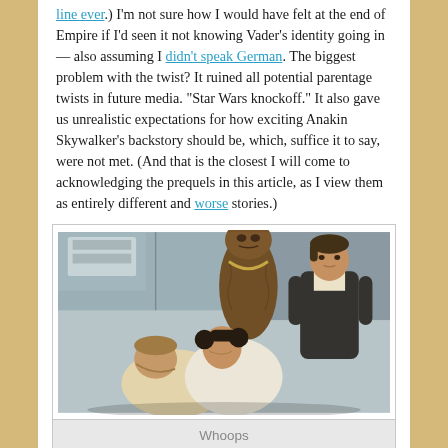line ever.) I'm not sure how I would have felt at the end of Empire if I'd seen it not knowing Vader's identity going in — also assuming I didn't speak German. The biggest problem with the twist? It ruined all potential parentage twists in future media. "Star Wars knockoff." It also gave us unrealistic expectations for how exciting Anakin Skywalker's backstory should be, which, suffice it to say, were not met. (And that is the closest I will come to acknowledging the prequels in this article, as I view them as entirely different and worse stories.)
[Figure (photo): Scene from Star Wars showing Chewbacca standing behind Han Solo (right) watching Luke and Leia (foreground) in an intimate moment.]
Whoops